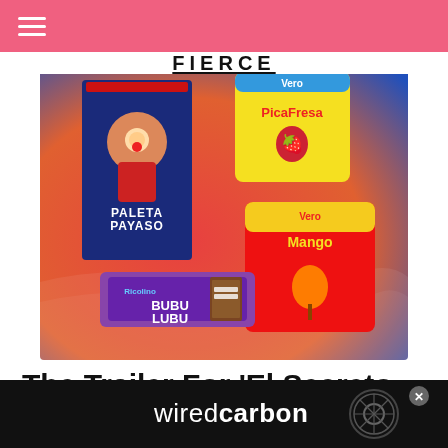≡
FIERCE
[Figure (photo): Product photo showing Mexican candy brands: Paleta Payaso box (clown mascot), Vero PicaFresa strawberry candy bag (yellow/pink), Vero Mango lollipop bag (red/yellow), and Bubu Lubu chocolate bar, displayed on a red and blue gradient background.]
The Trailer For 'El Secreto
[Figure (logo): wiredcarbon advertisement banner on black background with a carbon fiber wheel graphic and white text reading 'wiredcarbon', with an X close button.]